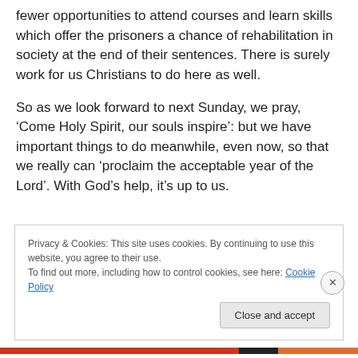fewer opportunities to attend courses and learn skills which offer the prisoners a chance of rehabilitation in society at the end of their sentences. There is surely work for us Christians to do here as well.
So as we look forward to next Sunday, we pray, ‘Come Holy Spirit, our souls inspire’: but we have important things to do meanwhile, even now, so that we really can ‘proclaim the acceptable year of the Lord’. With God’s help, it’s up to us.
Privacy & Cookies: This site uses cookies. By continuing to use this website, you agree to their use.
To find out more, including how to control cookies, see here: Cookie Policy